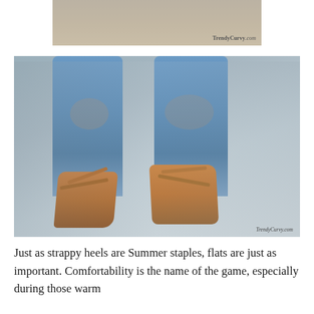[Figure (photo): Top partial photo showing a stone surface background with watermark 'TrendyCurvy.com' in bottom right corner]
[Figure (photo): Photo of person's legs wearing ripped blue jeans and brown lace-up strappy flat sandals, sitting on a concrete ledge. Watermark 'TrendyCurvy.com' in bottom right corner.]
Just as strappy heels are Summer staples, flats are just as important. Comfortability is the name of the game, especially during those warm